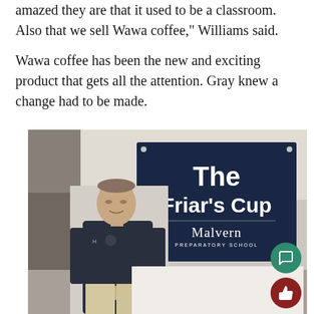amazed they are that it used to be a classroom. Also that we sell Wawa coffee," Williams said.
Wawa coffee has been the new and exciting product that gets all the attention. Gray knew a change had to be made.
[Figure (photo): A man in a dark navy zip-up stands in front of a large navy banner reading 'The Friar's Cup' with 'Malvern Preparatory School' logo beneath it. The photo appears to be taken inside a building.]